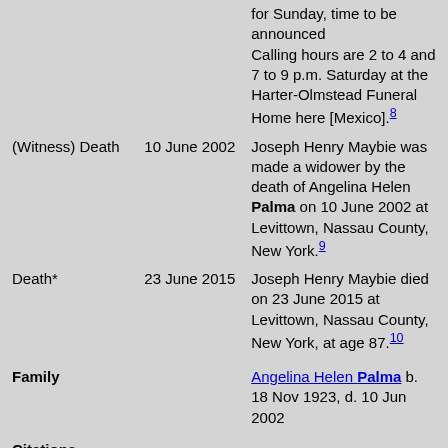| Event | Date | Description |
| --- | --- | --- |
|  |  | for Sunday, time to be announced
Calling hours are 2 to 4 and 7 to 9 p.m. Saturday at the Harter-Olmstead Funeral Home here [Mexico].[8] |
| (Witness) Death | 10 June 2002 | Joseph Henry Maybie was made a widower by the death of Angelina Helen Palma on 10 June 2002 at Levittown, Nassau County, New York.[9] |
| Death* | 23 June 2015 | Joseph Henry Maybie died on 23 June 2015 at Levittown, Nassau County, New York, at age 87.[10] |
| Family |  | Angelina Helen Palma b. 18 Nov 1923, d. 10 Jun 2002 |
| Citations |  |  |